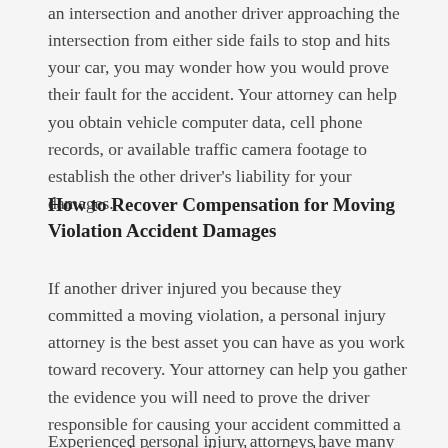an intersection and another driver approaching the intersection from either side fails to stop and hits your car, you may wonder how you would prove their fault for the accident. Your attorney can help you obtain vehicle computer data, cell phone records, or available traffic camera footage to establish the other driver's liability for your damages.
How to Recover Compensation for Moving Violation Accident Damages
If another driver injured you because they committed a moving violation, a personal injury attorney is the best asset you can have as you work toward recovery. Your attorney can help you gather the evidence you will need to prove the driver responsible for causing your accident committed a moving violation that directly resulted in your damages.
Experienced personal injury attorneys have many tactics...